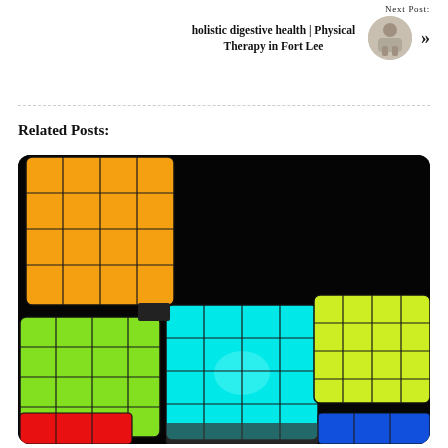Next Post:
holistic digestive health | Physical Therapy in Fort Lee
[Figure (photo): Circular thumbnail photo of a person sitting, next post navigation image]
Related Posts:
[Figure (photo): Colorful illuminated cube-shaped lights arranged in a Tetris-like pattern against a black background: orange cube on top left, green cube lower left, cyan cube center, yellow-green cube right, red and blue cubes at bottom]